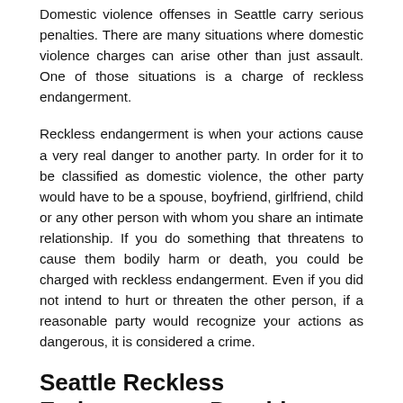Domestic violence offenses in Seattle carry serious penalties. There are many situations where domestic violence charges can arise other than just assault. One of those situations is a charge of reckless endangerment.
Reckless endangerment is when your actions cause a very real danger to another party. In order for it to be classified as domestic violence, the other party would have to be a spouse, boyfriend, girlfriend, child or any other person with whom you share an intimate relationship. If you do something that threatens to cause them bodily harm or death, you could be charged with reckless endangerment. Even if you did not intend to hurt or threaten the other person, if a reasonable party would recognize your actions as dangerous, it is considered a crime.
Seattle Reckless Endangerment Penalties
Reckless endangerment crimes are gross misdemeanor offenses. This means that if you are convicted you may face 90 days in jail and $1000 in fines. You can also be sentenced to community service, probation, anger management and more. In addition, any domestic violence charge can also lead to a protective order being placed against you by your alleged victim. Oftentimes